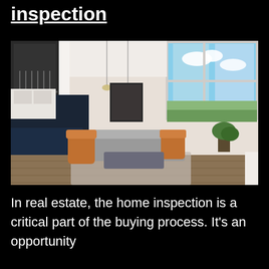inspection
[Figure (photo): Interior photo of a modern open-concept home with high ceilings, large windows, orange accent chairs, gray sectional sofa, kitchen island in background, and hardwood floors.]
In real estate, the home inspection is a critical part of the buying process. It's an opportunity